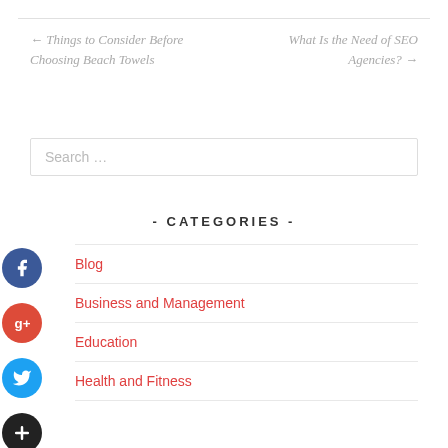← Things to Consider Before Choosing Beach Towels
What Is the Need of SEO Agencies? →
Search …
- CATEGORIES -
Blog
Business and Management
Education
Health and Fitness